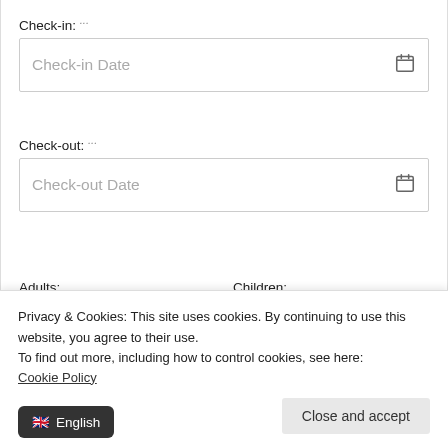Check-in: *
[Figure (screenshot): Check-in date input field with calendar icon and placeholder text 'Check-in Date']
Check-out: *
[Figure (screenshot): Check-out date input field with calendar icon and placeholder text 'Check-out Date']
Adults:
[Figure (screenshot): Adults dropdown showing value 2 with chevron]
Children:
[Figure (screenshot): Children dropdown showing value 0 with chevron]
[Figure (screenshot): Red button partially visible]
Privacy & Cookies: This site uses cookies. By continuing to use this website, you agree to their use.
To find out more, including how to control cookies, see here:
Cookie Policy
Close and accept
English